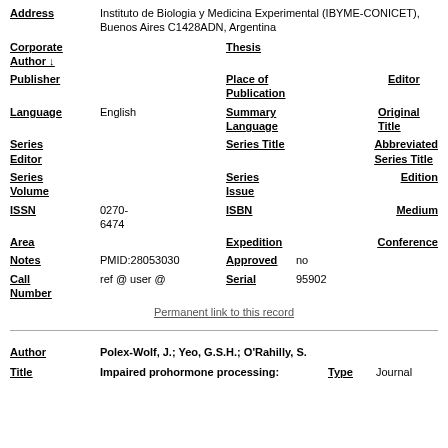| Field | Value | Field2 | Value2 |
| --- | --- | --- | --- |
| Address | Instituto de Biologia y Medicina Experimental (IBYME-CONICET), Buenos Aires C1428ADN, Argentina |  |  |
| Corporate Author ↓ |  | Thesis |  |
| Publisher |  | Place of Publication | Editor |
| Language | English | Summary Language | Original Title |
| Series Editor |  | Series Title | Abbreviated Series Title |
| Series Volume |  | Series Issue | Edition |
| ISSN | 0270-6474 | ISBN | Medium |
| Area |  | Expedition | Conference |
| Notes | PMID:28053030 | Approved | no |
| Call Number | ref @ user @ | Serial | 95902 |
Permanent link to this record
| Field | Value | Field2 | Value2 |
| --- | --- | --- | --- |
| Author | Polex-Wolf, J.; Yeo, G.S.H.; O'Rahilly, S. |  |  |
| Title | Impaired prohormone processing: | Type | Journal |